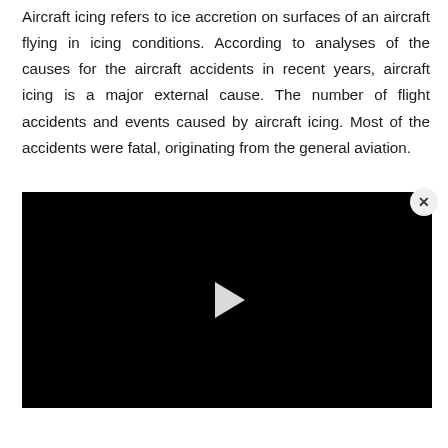Aircraft icing refers to ice accretion on surfaces of an aircraft flying in icing conditions. According to analyses of the causes for the aircraft accidents in recent years, aircraft icing is a major external cause. The number of flight accidents and events caused by aircraft icing. Most of the accidents were fatal, originating from the general aviation.
[Figure (other): Black video player with a white play button triangle in the center and a close (X) button in the bottom-right corner.]